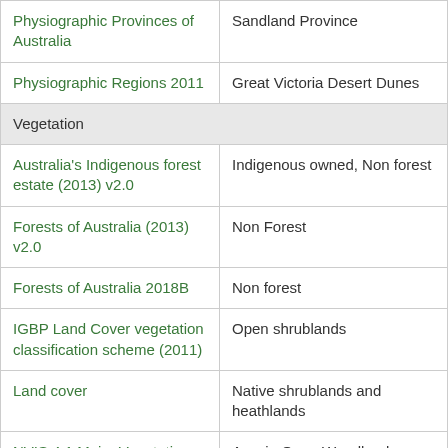| Category | Value |
| --- | --- |
| Physiographic Provinces of Australia | Sandland Province |
| Physiographic Regions 2011 | Great Victoria Desert Dunes |
| Vegetation |  |
| Australia's Indigenous forest estate (2013) v2.0 | Indigenous owned, Non forest |
| Forests of Australia (2013) v2.0 | Non Forest |
| Forests of Australia 2018B | Non forest |
| IGBP Land Cover vegetation classification scheme (2011) | Open shrublands |
| Land cover | Native shrublands and heathlands |
| NVIS 4.1 Major Vegetation Groups | Acacia Open Woodlands |
| NVIS 4.1 Major Vegetation Subgroups | Mulga (Acacia aneura) open woodlands and sparse shrublands +/- tussock grass |